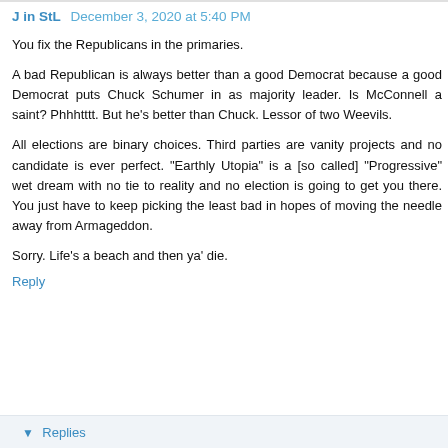J in StL  December 3, 2020 at 5:40 PM
You fix the Republicans in the primaries.
A bad Republican is always better than a good Democrat because a good Democrat puts Chuck Schumer in as majority leader. Is McConnell a saint? Phhhtttt. But he's better than Chuck. Lessor of two Weevils.
All elections are binary choices. Third parties are vanity projects and no candidate is ever perfect. "Earthly Utopia" is a [so called] "Progressive" wet dream with no tie to reality and no election is going to get you there. You just have to keep picking the least bad in hopes of moving the needle away from Armageddon.
Sorry. Life's a beach and then ya' die.
Reply
Replies